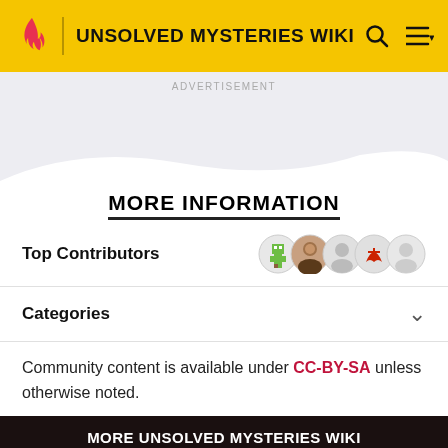UNSOLVED MYSTERIES WIKI
ADVERTISEMENT
MORE INFORMATION
Top Contributors
Categories
Community content is available under CC-BY-SA unless otherwise noted.
MORE UNSOLVED MYSTERIES WIKI